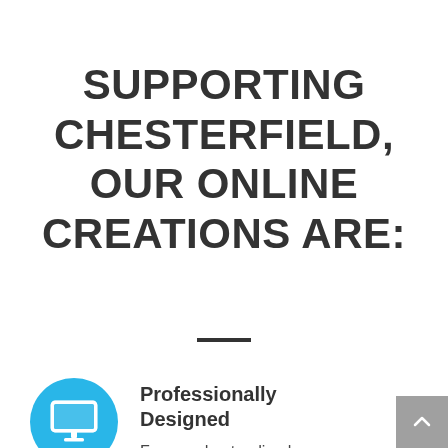SUPPORTING CHESTERFIELD, OUR ONLINE CREATIONS ARE:
[Figure (illustration): A short horizontal dark divider line centered on the page]
[Figure (illustration): Blue circle icon with a monitor/desktop computer screen icon inside]
Professionally Designed
From understanding how your Chesterfield web